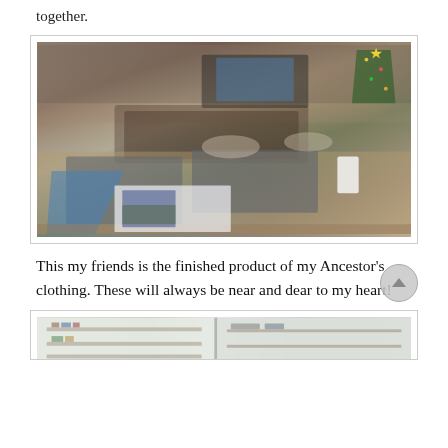together.
[Figure (photo): Interior photo of a living room with a kitchen counter in the foreground covered in craft supplies, gray foam boards, fabric scraps, cups, and handmade flower embellishments. A Christmas tree is visible in the background along with a TV and fireplace.]
This my friends is the finished product of my Ancestor’s clothing.  These will always be near and dear to my heart!
[Figure (photo): Bottom portion of a second photo showing what appears to be shelves or cabinets with books/items, partially cut off at the bottom of the page.]